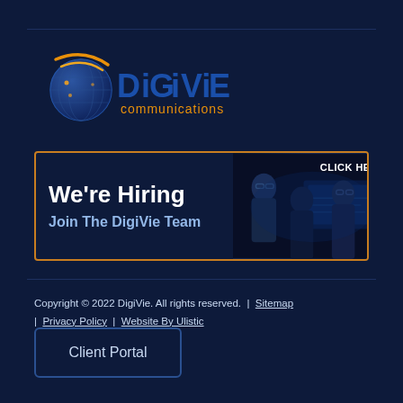[Figure (logo): DigiVie Communications logo with blue globe and orange swoosh arc, blue bold text DIGIVIE with orange communications below]
[Figure (infographic): We're Hiring banner with orange border, white bold text 'We're Hiring' and blue text 'Join The DigiVie Team' on left, dark photo of professionals at computer on right with 'CLICK HERE' text]
Copyright © 2022 DigiVie. All rights reserved.  |  Sitemap  |  Privacy Policy  |  Website By Ulistic
Client Portal